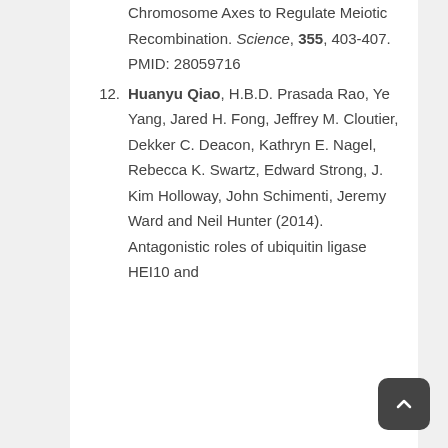Chromosome Axes to Regulate Meiotic Recombination. Science, 355, 403-407. PMID: 28059716
12. Huanyu Qiao, H.B.D. Prasada Rao, Ye Yang, Jared H. Fong, Jeffrey M. Cloutier, Dekker C. Deacon, Kathryn E. Nagel, Rebecca K. Swartz, Edward Strong, J. Kim Holloway, John Schimenti, Jeremy Ward and Neil Hunter (2014). Antagonistic roles of ubiquitin ligase HEI10 and ...